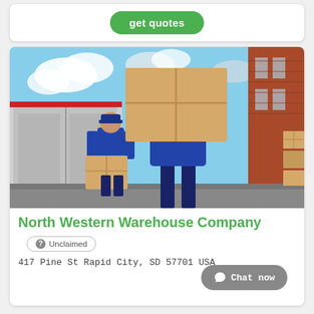[Figure (other): A green 'get quotes' button on a white card at the top of the page]
[Figure (photo): Two movers in blue uniforms carrying cardboard boxes in front of a moving truck and brick building]
North Western Warehouse Company
? Unclaimed
417 Pine St Rapid City, SD 57701 USA